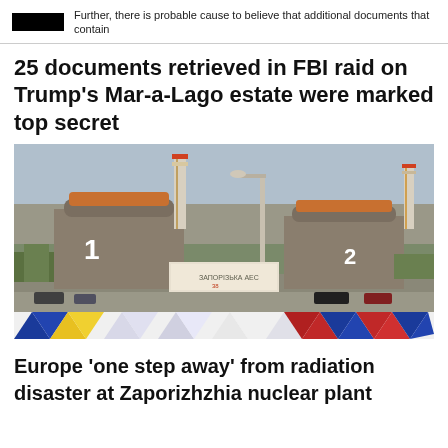Further, there is probable cause to believe that additional documents that contain
25 documents retrieved in FBI raid on Trump's Mar-a-Lago estate were marked top secret
[Figure (photo): Photograph of Zaporizhzhia nuclear power plant showing two large reactor buildings numbered 1 and 2, tall chimneys, a road with cars and a street lamp in the foreground, and a decorative geometric strip of colored triangles (blue, yellow, red, white) at the bottom.]
Europe 'one step away' from radiation disaster at Zaporizhzhia nuclear plant